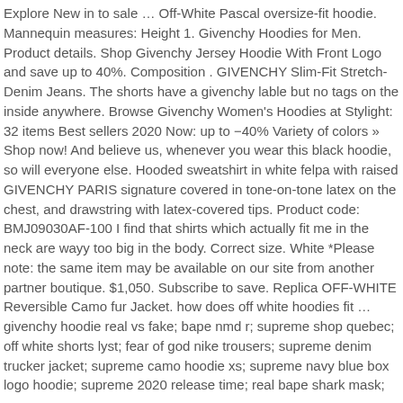Explore New in to sale … Off-White Pascal oversize-fit hoodie. Mannequin measures: Height 1. Givenchy Hoodies for Men. Product details. Shop Givenchy Jersey Hoodie With Front Logo and save up to 40%. Composition . GIVENCHY Slim-Fit Stretch-Denim Jeans. The shorts have a givenchy lable but no tags on the inside anywhere. Browse Givenchy Women's Hoodies at Stylight: 32 items Best sellers 2020 Now: up to −40% Variety of colors » Shop now! And believe us, whenever you wear this black hoodie, so will everyone else. Hooded sweatshirt in white felpa with raised GIVENCHY PARIS signature covered in tone-on-tone latex on the chest, and drawstring with latex-covered tips. Product code: BMJ09030AF-100 I find that shirts which actually fit me in the neck are wayy too big in the body. Correct size. White *Please note: the same item may be available on our site from another partner boutique. $1,050. Subscribe to save. Replica OFF-WHITE Reversible Camo fur Jacket. how does off white hoodies fit … givenchy hoodie real vs fake; bape nmd r; supreme shop quebec; off white shorts lyst; fear of god nike trousers; supreme denim trucker jacket; supreme camo hoodie xs; supreme navy blue box logo hoodie; supreme 2020 release time; real bape shark mask; off white t shirt price ; Posted on 2020-12-29 02:36:21 • In Community • Permalink. Darker and more street savvy than ever